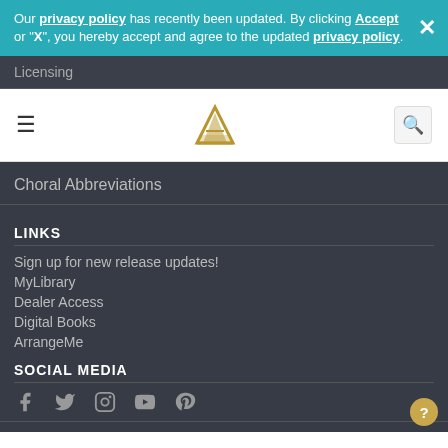Our privacy policy has recently been updated. By clicking Accept or "X", you hereby accept and agree to the updated privacy policy.
Licensing
[Figure (logo): Music publisher logo — stylized gold letter/sheet music icon]
Choral Abbreviations
LINKS
Sign up for new release updates!
MyLibrary
Dealer Access
Digital Books
ArrangeMe
SOCIAL MEDIA
[Figure (other): Social media icons: Facebook, Twitter, Instagram, YouTube, Pinterest]